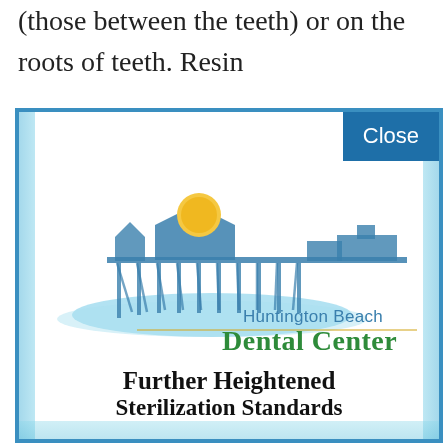(those between the teeth) or on the roots of teeth. Resin
[Figure (logo): Huntington Beach Dental Center logo featuring a pier silhouette with sun and ocean wave]
Further Heightened Sterilization Standards